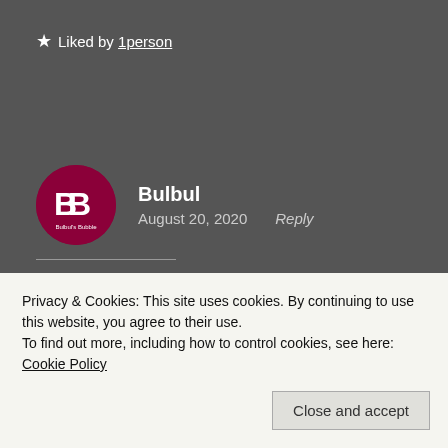★ Liked by 1person
Bulbul
August 20, 2020    Reply
😀😀 thank you so much ❤️🙏😘
★ Like
Privacy & Cookies: This site uses cookies. By continuing to use this website, you agree to their use.
To find out more, including how to control cookies, see here: Cookie Policy
Close and accept